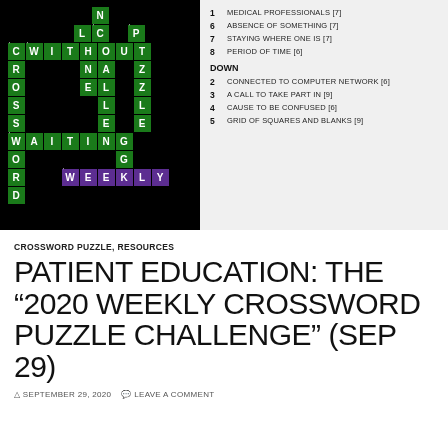[Figure (illustration): Crossword puzzle grid on black background with green letters spelling WITHOUT, WAITING, WEEKLY, CROSSWORD, CHALLENGE, PUZZLE and other words. Some squares highlighted in purple.]
1  MEDICAL PROFESSIONALS [7]
6  ABSENCE OF SOMETHING [7]
7  STAYING WHERE ONE IS [7]
8  PERIOD OF TIME [6]
DOWN
2  CONNECTED TO COMPUTER NETWORK [6]
3  A CALL TO TAKE PART IN [9]
4  CAUSE TO BE CONFUSED [6]
5  GRID OF SQUARES AND BLANKS [9]
CROSSWORD PUZZLE, RESOURCES
PATIENT EDUCATION: THE “2020 WEEKLY CROSSWORD PUZZLE CHALLENGE” (SEP 29)
SEPTEMBER 29, 2020   LEAVE A COMMENT